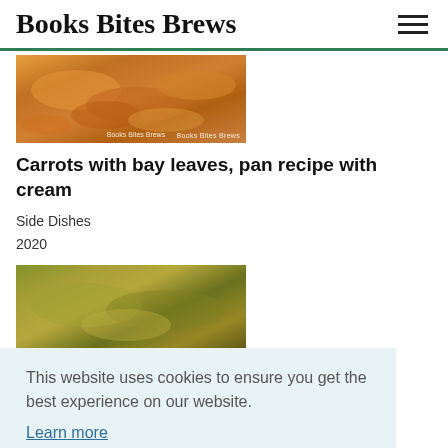Books Bites Brews
[Figure (photo): Food photo showing cooked carrots with bay leaves, orange/amber tones with 'Books Bites Brews' watermark]
Carrots with bay leaves, pan recipe with cream
Side Dishes
2020
[Figure (photo): Food photo showing rice or grain dish with vegetables, yellow-green tones]
This website uses cookies to ensure you get the best experience on our website. Learn more